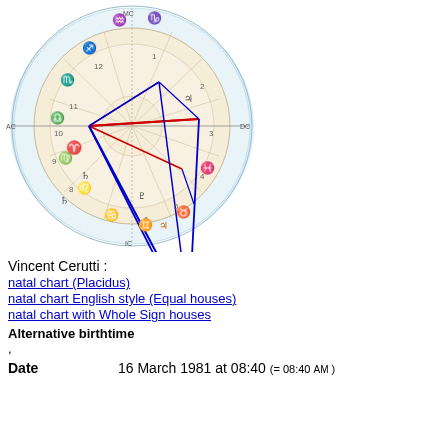[Figure (other): Astrological natal chart wheel showing zodiac signs, house divisions, and planetary aspect lines in red and blue for Vincent Cerutti born 16 March 1981 at 08:40]
Vincent Cerutti :
natal chart (Placidus)
natal chart English style (Equal houses)
natal chart with Whole Sign houses
Alternative birthtime
,
Date    16 March 1981 at 08:40 (= 08:40 AM )